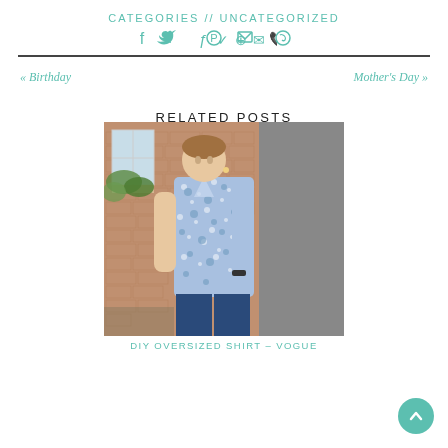CATEGORIES // UNCATEGORIZED
Social share icons: Facebook, Twitter, Pinterest, Email, WhatsApp
« Birthday    Mother's Day »
RELATED POSTS
[Figure (photo): Woman wearing a blue and white floral oversized shirt standing against a brick wall and grey panel]
DIY OVERSIZED SHIRT – VOGUE